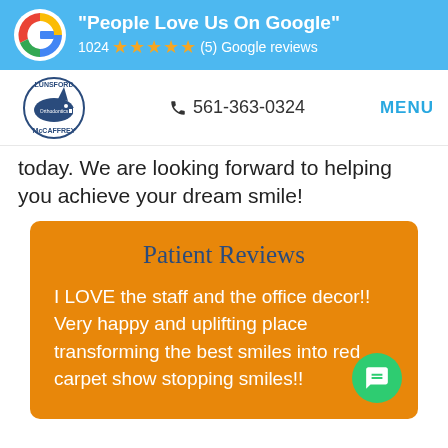"People Love Us On Google" 1024 ★★★★★ (5) Google reviews
[Figure (logo): Lunsford McCaffrey Orthodontics shark logo]
📞 561-363-0324
MENU
today. We are looking forward to helping you achieve your dream smile!
Patient Reviews
I LOVE the staff and the office decor!! Very happy and uplifting place transforming the best smiles into red carpet show stopping smiles!!